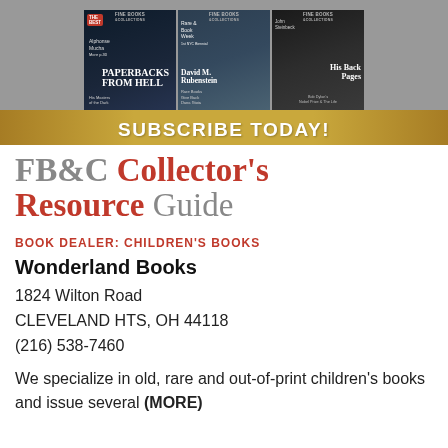[Figure (illustration): Advertisement banner for Fine Books & Collections magazine showing three magazine covers with a gold 'SUBSCRIBE TODAY!' bar at the bottom]
FB&C Collector's Resource Guide
BOOK DEALER: CHILDREN'S BOOKS
Wonderland Books
1824 Wilton Road
CLEVELAND HTS, OH 44118
(216) 538-7460
We specialize in old, rare and out-of-print children's books and issue several (MORE)